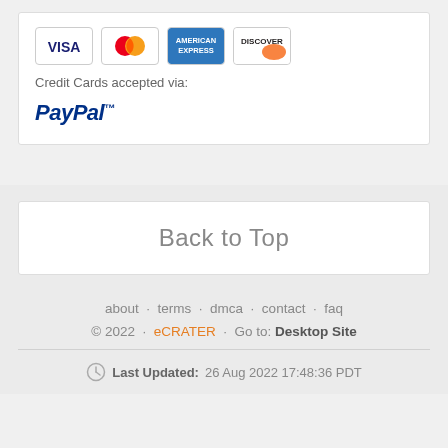[Figure (logo): Credit card logos: Visa, Mastercard, American Express, Discover]
Credit Cards accepted via:
[Figure (logo): PayPal logo in bold italic blue text]
Back to Top
about · terms · dmca · contact · faq
© 2022 · eCRATER · Go to: Desktop Site
Last Updated: 26 Aug 2022 17:48:36 PDT